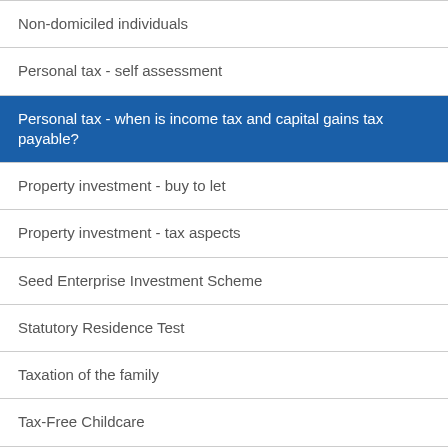Non-domiciled individuals
Personal tax - self assessment
Personal tax - when is income tax and capital gains tax payable?
Property investment - buy to let
Property investment - tax aspects
Seed Enterprise Investment Scheme
Statutory Residence Test
Taxation of the family
Tax-Free Childcare
Venture Capital Trusts